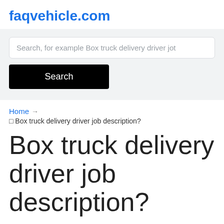faqvehicle.com
Search, for example Box truck delivery driver job
Search
Home → □ Box truck delivery driver job description?
Box truck delivery driver job description?